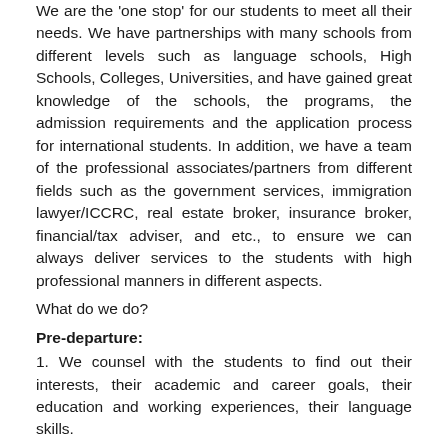We are the 'one stop' for our students to meet all their needs. We have partnerships with many schools from different levels such as language schools, High Schools, Colleges, Universities, and have gained great knowledge of the schools, the programs, the admission requirements and the application process for international students. In addition, we have a team of the professional associates/partners from different fields such as the government services, immigration lawyer/ICCRC, real estate broker, insurance broker, financial/tax adviser, and etc., to ensure we can always deliver services to the students with high professional manners in different aspects.
What do we do?
Pre-departure:
1. We counsel with the students to find out their interests, their academic and career goals, their education and working experiences, their language skills.
2. We help them search for resources in regards to schools, housing, cultures, living environment, living costs, transportation and ect.
3. We assist them to choose the most suitable school